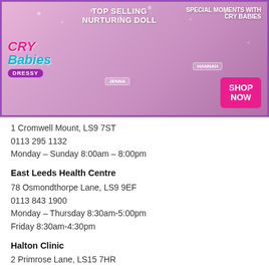[Figure (photo): Cry Babies Dressy advertisement banner showing toy dolls and a young girl. Text includes 'TOP SELLING NURTURING DOLL', 'SPECIAL MOMENTS WITH CRY BABIES', doll names 'JENNA' and 'HANNAH', and a pink 'SHOP NOW' button.]
1 Cromwell Mount, LS9 7ST
0113 295 1132
Monday – Sunday 8:00am – 8:00pm
East Leeds Health Centre
78 Osmondthorpe Lane, LS9 9EF
0113 843 1900
Monday – Thursday 8:30am-5:00pm
Friday 8:30am-4:30pm
Halton Clinic
2 Primrose Lane, LS15 7HR
0113 843 3700
Monday – Thursday 8:30am-5:00pm
Friday 8:30am-4:30pm